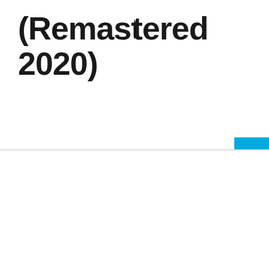(Remastered 2020)
We use cookies on our website to give you the most relevant experience by remembering your preferences and repeat visits. By clicking "Accept All", you consent to the use of ALL the cookies. However, you may visit "Cookie Settings" to provide a controlled consent.